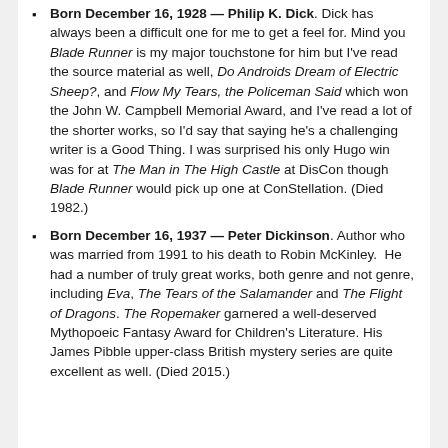Born December 16, 1928 — Philip K. Dick. Dick has always been a difficult one for me to get a feel for. Mind you Blade Runner is my major touchstone for him but I've read the source material as well, Do Androids Dream of Electric Sheep?, and Flow My Tears, the Policeman Said which won the John W. Campbell Memorial Award, and I've read a lot of the shorter works, so I'd say that saying he's a challenging writer is a Good Thing. I was surprised his only Hugo win was for at The Man in The High Castle at DisCon though Blade Runner would pick up one at ConStellation. (Died 1982.)
Born December 16, 1937 — Peter Dickinson. Author who was married from 1991 to his death to Robin McKinley. He had a number of truly great works, both genre and not genre, including Eva, The Tears of the Salamander and The Flight of Dragons. The Ropemaker garnered a well-deserved Mythopoeic Fantasy Award for Children's Literature. His James Pibble upper-class British mystery series are quite excellent as well. (Died 2015.)